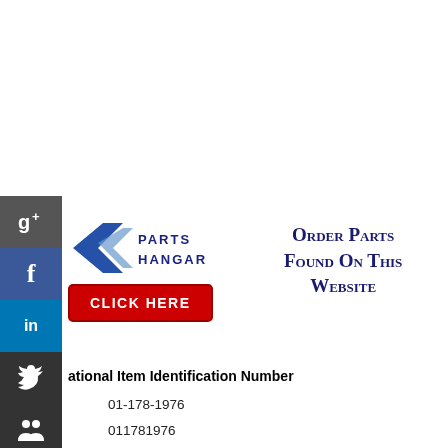[Figure (logo): Social media sidebar with Google+, Facebook, LinkedIn, Twitter, Stumble icons stacked vertically on the left side]
[Figure (logo): Parts Hangar logo with airplane graphic and text, plus red CLICK HERE button, and 'Order Parts Found On This Website' text in dark blue]
ational Item Identification Number
01-178-1976
011781976
5305-01-178-1976